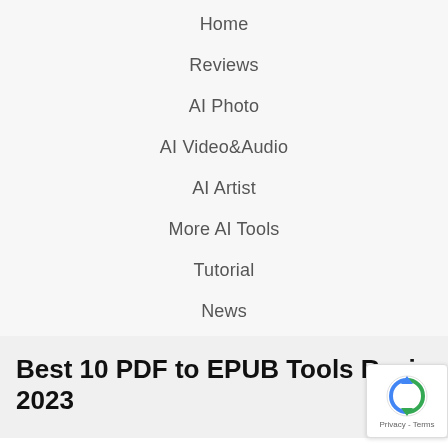Home
Reviews
AI Photo
AI Video&Audio
AI Artist
More AI Tools
Tutorial
News
Best 10 PDF to EPUB Tools Revie… 2023